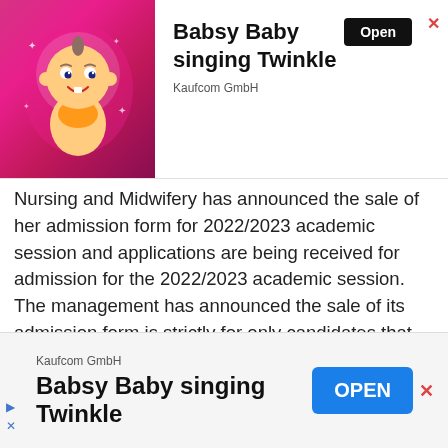[Figure (illustration): Top banner advertisement for 'Babsy Baby singing Twinkle' app by Kaufcom GmbH. Shows animated baby character on pink sparkly background with Open button and close X.]
Nursing and Midwifery has announced the sale of her admission form for 2022/2023 academic session and applications are being received for admission for the 2022/2023 academic session. The management has announced the sale of its admission form is strictly for only candidates that meet the requirements for the College of Nursing & Midwifery.
[Figure (illustration): Bottom banner advertisement for 'Babsy Baby singing Twinkle' app by Kaufcom GmbH with blue OPEN button and close X.]